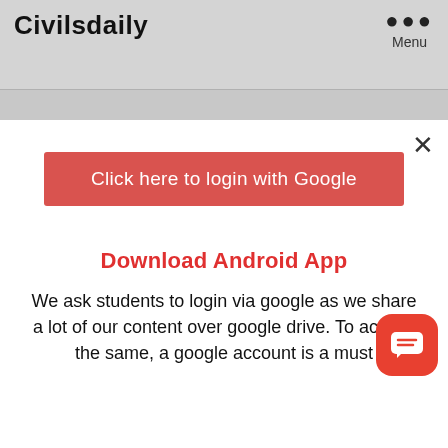Civilsdaily
Menu
Click here to login with Google
Download Android App
We ask students to login via google as we share a lot of our content over google drive. To access the same, a google account is a must
Perspective: Record FDI Infl...